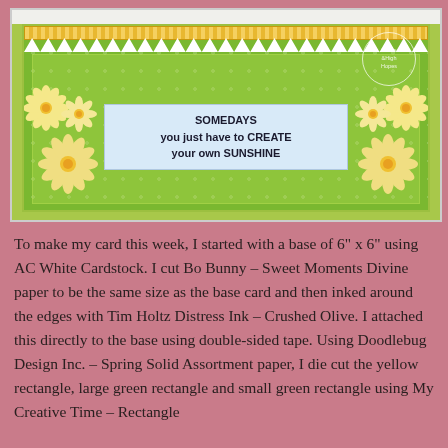[Figure (photo): A handmade greeting card with a green floral patterned background, yellow and green layered rectangles, decorative scallop border, yellow daisy flowers arranged on left and right sides, and a light blue sentiment box in the center reading 'SOMEDAYS you just have to CREATE your own SUNSHINE'. A circular watermark/logo appears in the top right corner.]
To make my card this week, I started with a base of 6" x 6" using AC White Cardstock. I cut Bo Bunny – Sweet Moments Divine paper to be the same size as the base card and then inked around the edges with Tim Holtz Distress Ink – Crushed Olive. I attached this directly to the base using double-sided tape. Using Doodlebug Design Inc. – Spring Solid Assortment paper, I die cut the yellow rectangle, large green rectangle and small green rectangle using My Creative Time – Rectangle